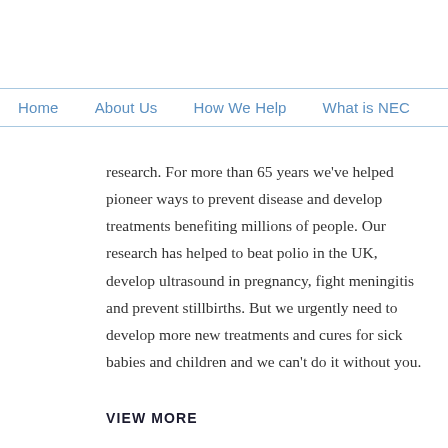Home | About Us | How We Help | What is NEC |
research. For more than 65 years we've helped pioneer ways to prevent disease and develop treatments benefiting millions of people. Our research has helped to beat polio in the UK, develop ultrasound in pregnancy, fight meningitis and prevent stillbirths. But we urgently need to develop more new treatments and cures for sick babies and children and we can't do it without you.
VIEW MORE